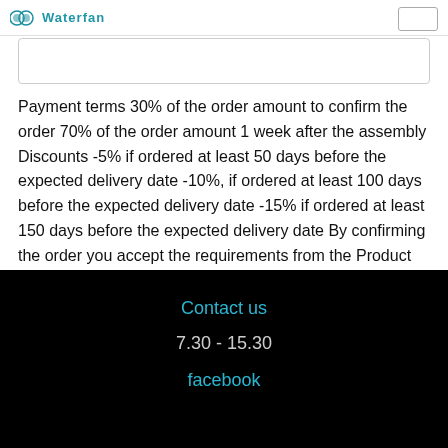Waterfan
Payment terms 30% of the order amount to confirm the order 70% of the order amount 1 week after the assembly Discounts -5% if ordered at least 50 days before the expected delivery date -10%, if ordered at least 100 days before the expected delivery date -15% if ordered at least 150 days before the expected delivery date By confirming the order you accept the requirements from the Product Card and the following Terms and Conditions https://water-display.com/shop/terms
Contact us
7.30 - 15.30
facebook